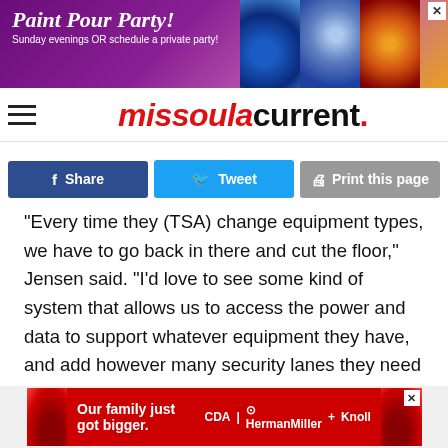[Figure (other): Paint Pour Party advertisement banner with colorful swirl backgrounds and text 'Paint Pour Party! Sunday evenings OR schedule a private party!']
missoulacurrent.
[Figure (other): Social action buttons: Facebook Share, Twitter Tweet, Print this page]
“Every time they (TSA) change equipment types, we have to go back in there and cut the floor,” Jensen said. “I’d love to see some kind of system that allows us to access the power and data to support whatever equipment they have, and add however many security lanes they need without having to go through a major construction project to do it.”
[Figure (other): Advertisement banner: 'Our family just got bigger.' with CDA, HermanMiller, and Knoll logos on red background with chairs imagery.]